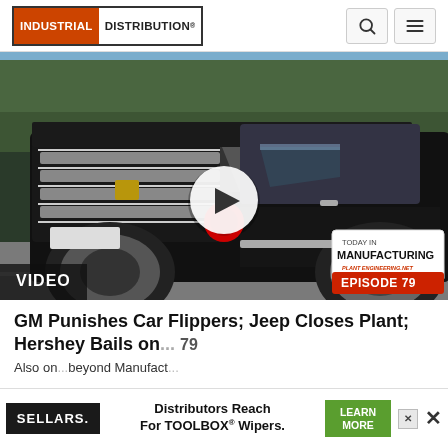INDUSTRIAL DISTRIBUTION
[Figure (screenshot): Video thumbnail showing a black Cadillac Escalade SUV on a road, with a white circular play button overlay, and a branded overlay reading 'TODAY IN MANUFACTURING EPISODE 79'. A 'VIDEO' label appears at the bottom left.]
VIDEO
GM Punishes Car Flippers; Jeep Closes Plant; Hershey Bails on... Episode 79
Also on...beyond Manufacture...
[Figure (infographic): Advertisement banner: SELLARS logo on left, text 'Distributors Reach For TOOLBOX® Wipers.' in center, green 'LEARN MORE' button, and X close button on far right.]